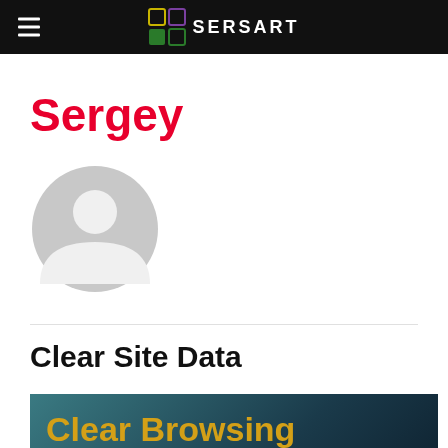SERSART
Sergey
[Figure (illustration): Generic user avatar icon: a grey circle with a white silhouette of a person (head and shoulders)]
Clear Site Data
[Figure (screenshot): Dark teal/navy gradient banner with gold-yellow text reading 'Clear Browsing History,']